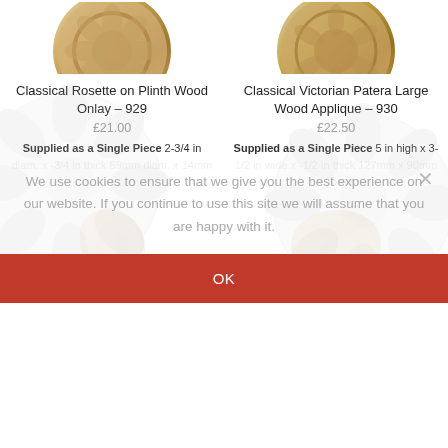[Figure (photo): Top portion of a circular wooden carved rosette on plinth, shown cropped at top of left product card]
[Figure (photo): Top portion of a circular classical Victorian wood applique, shown cropped at top of right product card]
Classical Rosette on Plinth Wood Onlay – 929
Classical Victorian Patera Large Wood Applique – 930
£21.00
£22.50
Supplied as a Single Piece 2-3/4 in diam. x -3/4 in thick 69mm diam. x 14mm
Supplied as a Single Piece 5 in high x 3-1/2 in wide x -1/2 in thick 127mm x 90mm x 15mm
[Figure (photo): Partial view of a small wooden carved piece, bottom row left product]
[Figure (photo): Partial view of a small wooden carved piece, bottom row right product]
We use cookies to ensure that we give you the best experience on our website. If you continue to use this site we will assume that you are happy with it.
OK